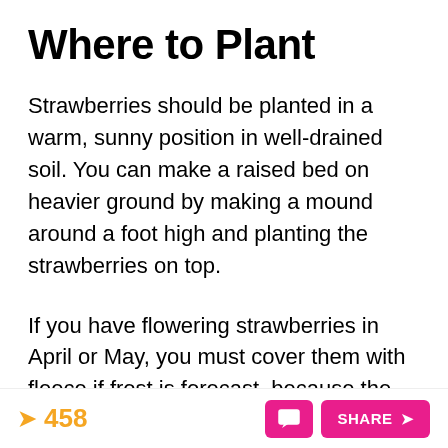Where to Plant
Strawberries should be planted in a warm, sunny position in well-drained soil. You can make a raised bed on heavier ground by making a mound around a foot high and planting the strawberries on top.
If you have flowering strawberries in April or May, you must cover them with fleece if frost is forecast, because the fruit will not grow
458  SHARE